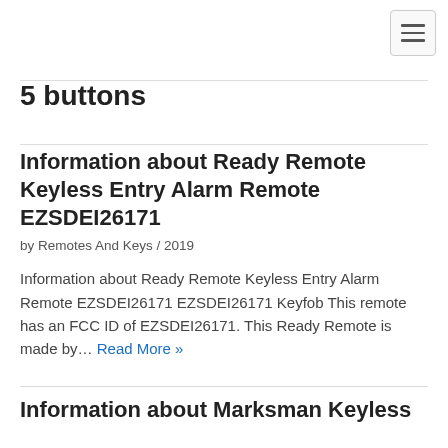[Figure (other): Hamburger menu button icon in top-right corner]
5 buttons
Information about Ready Remote Keyless Entry Alarm Remote EZSDEI26171
by Remotes And Keys / 2019
Information about Ready Remote Keyless Entry Alarm Remote EZSDEI26171 EZSDEI26171 Keyfob This remote has an FCC ID of EZSDEI26171. This Ready Remote is made by… Read More »
Information about Marksman Keyless